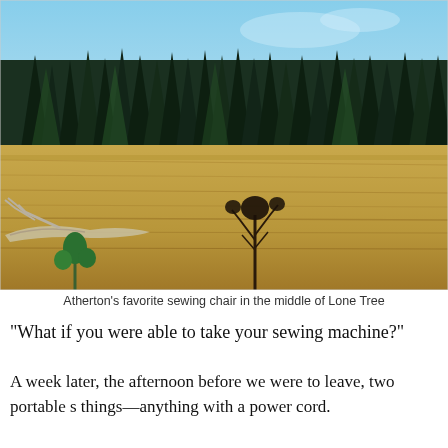[Figure (photo): A wide meadow of dry golden grass with a forest of dark evergreen pine trees in the background under a blue sky. In the foreground are a small green sapling and a fallen bleached log. A lone dark shrub or small tree stands in the middle of the field.]
Atherton's favorite sewing chair in the middle of Lone Tree
“What if you were able to take your sewing machine?”
A week later, the afternoon before we were to leave, two portable s things—anything with a power cord.